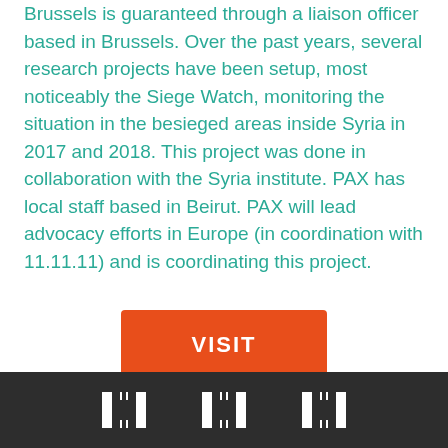Brussels is guaranteed through a liaison officer based in Brussels. Over the past years, several research projects have been setup, most noticeably the Siege Watch, monitoring the situation in the besieged areas inside Syria in 2017 and 2018. This project was done in collaboration with the Syria institute. PAX has local staff based in Beirut. PAX will lead advocacy efforts in Europe (in coordination with 11.11.11) and is coordinating this project.
[Figure (other): Orange VISIT button linking to an external website]
[Figure (other): Dark footer bar with three white bracket/logo icons representing partner organizations]